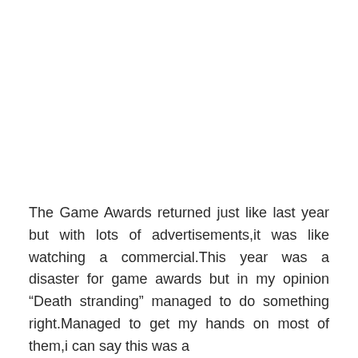The Game Awards returned just like last year but with lots of advertisements,it was like watching a commercial.This year was a disaster for game awards but in my opinion “Death stranding” managed to do something right.Managed to get my hands on most of them,i can say this was a